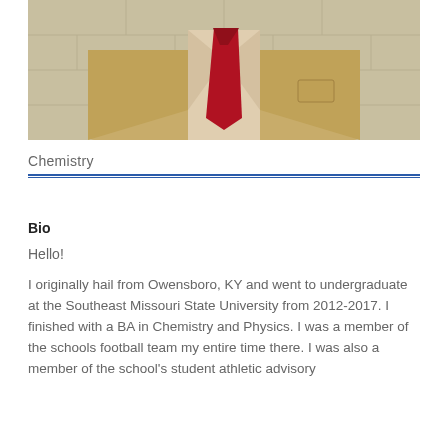[Figure (photo): Portrait photo of a man in a tan/khaki suit with a red tie and plaid shirt, photographed from the torso up against a light background.]
Chemistry
Bio
Hello!
I originally hail from Owensboro, KY and went to undergraduate at the Southeast Missouri State University from 2012-2017. I finished with a BA in Chemistry and Physics. I was a member of the schools football team my entire time there. I was also a member of the school's student athletic advisory